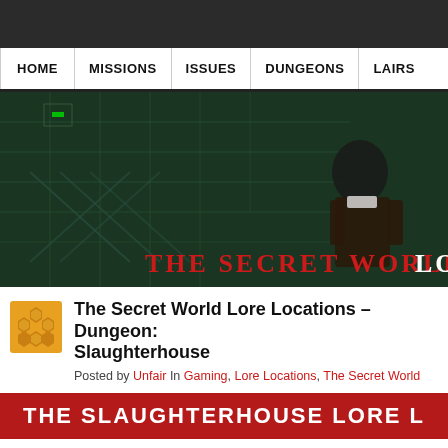HOME | MISSIONS | ISSUES | DUNGEONS | LAIRS
[Figure (screenshot): Hero banner image showing a character from The Secret World game in a dark industrial/green environment. Text reads 'THE SECRET WORLD LO' (partially cropped)]
The Secret World Lore Locations – Dungeon: Slaughterhouse
Posted by Unfair In Gaming, Lore Locations, The Secret World
THE SLAUGHTERHOUSE LORE L
View the complete Map of  'Slaughterhouse' Lore Locations i
[Figure (screenshot): Bottom strip showing a map or image labeled 'The Slaughterhouse']